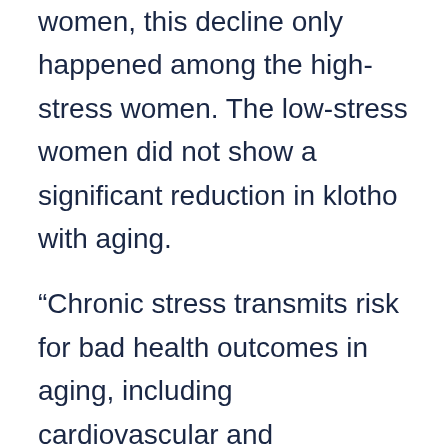women, this decline only happened among the high-stress women. The low-stress women did not show a significant reduction in klotho with aging.
“Chronic stress transmits risk for bad health outcomes in aging, including cardiovascular and Alzheimer’s disease,” said Dubal, an assistant professor in the UCSF Department of Neurology and the David A. Coulter Endowed Chair in Aging and Neurodegenerative Disease. “It will be important to figure out if higher levels of klotho can benefit mind and body health as we age. If so, therapeutics or lifestyle interventions that increase the longevity hormone could have a big impact on people’s lives.”